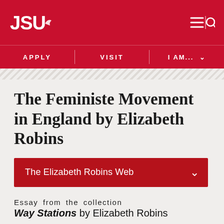[Figure (logo): JSU (Jacksonville State University) logo in white on red background]
APPLY   VISIT   I AM...
The Feministe Movement in England by Elizabeth Robins
The Elizabeth Robins Web
Essay from the collection Way Stations by Elizabeth Robins
Way Stations page 40
III